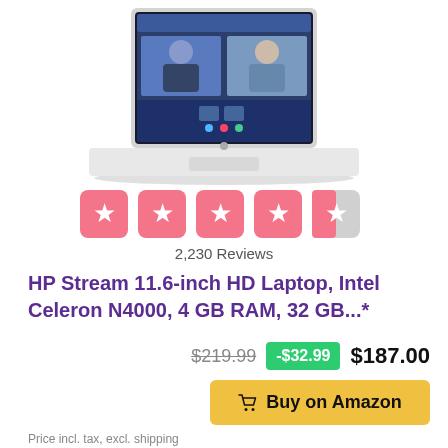[Figure (photo): HP Stream laptop open showing a video call with two people on screen]
[Figure (other): Star rating: 4 out of 5 stars, shown as pink/red star boxes]
2,230 Reviews
HP Stream 11.6-inch HD Laptop, Intel Celeron N4000, 4 GB RAM, 32 GB...*
$219.99  -$32.99  $187.00
Buy on Amazon
Price incl. tax, excl. shipping